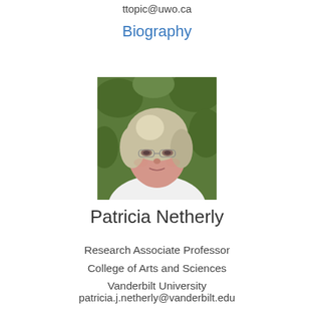ttopic@uwo.ca
Biography
[Figure (photo): Portrait photo of Patricia Netherly, an older woman with short blonde/grey hair wearing a white top, photographed outdoors with green foliage in the background.]
Patricia Netherly
Research Associate Professor
College of Arts and Sciences
Vanderbilt University
patricia.j.netherly@vanderbilt.edu